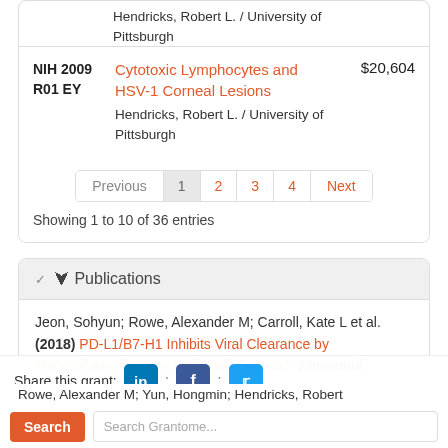| ID | Title / PI | Amount |
| --- | --- | --- |
| NIH 2009
R01 EY | Cytotoxic Lymphocytes and HSV-1 Corneal Lesions
Hendricks, Robert L. / University of Pittsburgh | $20,604 |
Showing 1 to 10 of 36 entries
Publications
Jeon, Sohyun; Rowe, Alexander M; Carroll, Kate L et al. (2018) PD-L1/B7-H1 Inhibits Viral Clearance by Macrophages in HSV-1 Infected Corneas. J Immunol 200.5:1137
Rowe, Alexander M; Yun, Hongmin; Hendricks, Robert